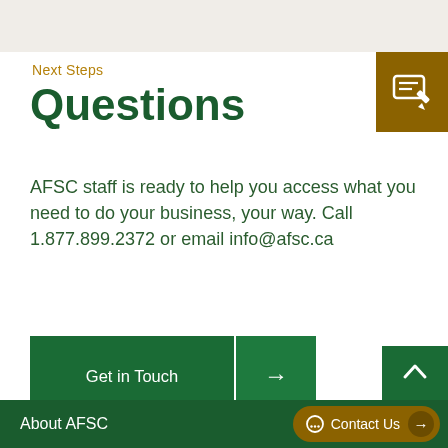Next Steps
Questions
[Figure (illustration): White icon of a chat/message with edit pencil on dark gold/brown square background]
AFSC staff is ready to help you access what you need to do your business, your way. Call 1.877.899.2372 or email info@afsc.ca
Get in Touch →
About AFSC   Contact Us →